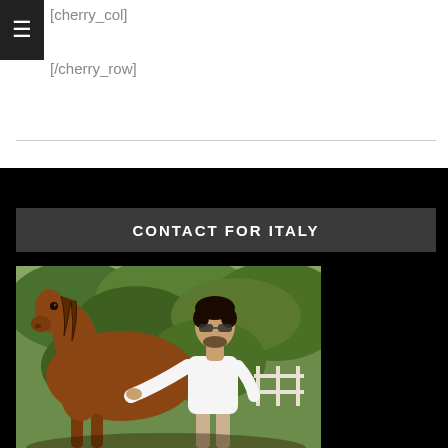[cherry_col]
[/cherry_row]
CONTACT FOR ITALY
[Figure (photo): A man in a white t-shirt and sunglasses standing next to a chestnut brown horse outdoors with green hedges in the background]